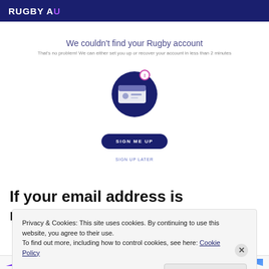RUGBY AU
We couldn't find your Rugby account
That's no problem! We can either set you up or recover your account in less than 2 minutes
[Figure (illustration): Dark blue circle icon with an envelope/ID card image and a small pink notification badge on top right]
SIGN ME UP
SIGN UP LATER
If your email address is recognised, you'll be asked
Privacy & Cookies: This site uses cookies. By continuing to use this website, you agree to their use.
To find out more, including how to control cookies, see here: Cookie Policy
Close and accept